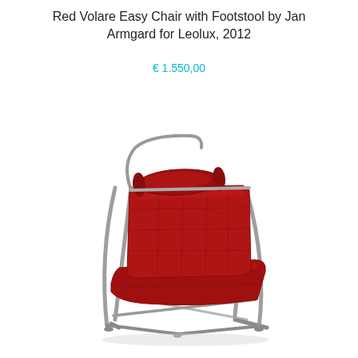Red Volare Easy Chair with Footstool by Jan Armgard for Leolux, 2012
€ 1.550,00
[Figure (photo): Red leather Volare Easy Chair with a tufted/quilted backrest and seat cushion, mounted on a brushed steel tubular frame with crossed legs. A cylindrical neck roll headrest is attached at the top of the backrest. The chair is photographed against a white background in a three-quarter view.]